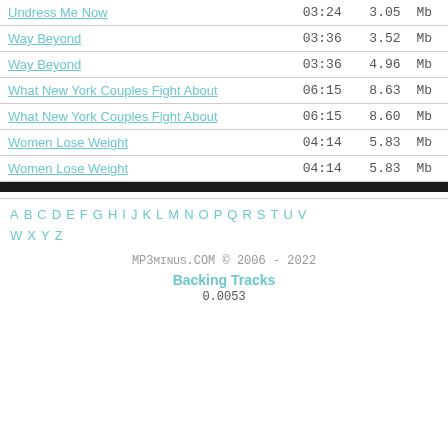| Track | Time | Size | Unit |
| --- | --- | --- | --- |
| Undress Me Now | 03:24 | 3.05 | Mb |
| Way Beyond | 03:36 | 3.52 | Mb |
| Way Beyond | 03:36 | 4.96 | Mb |
| What New York Couples Fight About | 06:15 | 8.63 | Mb |
| What New York Couples Fight About | 06:15 | 8.60 | Mb |
| Women Lose Weight | 04:14 | 5.83 | Mb |
| Women Lose Weight | 04:14 | 5.83 | Mb |
A B C D E F G H I J K L M N O P Q R S T U V W X Y Z
MP3MINUS.COM © 2006 - 2022
Backing Tracks
0.0053